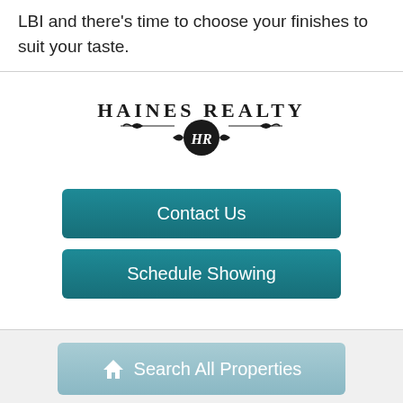LBI and there's time to choose your finishes to suit your taste.
[Figure (logo): Haines Realty logo with decorative scroll and HR monogram in circle]
Contact Us
Schedule Showing
Search All Properties
Share